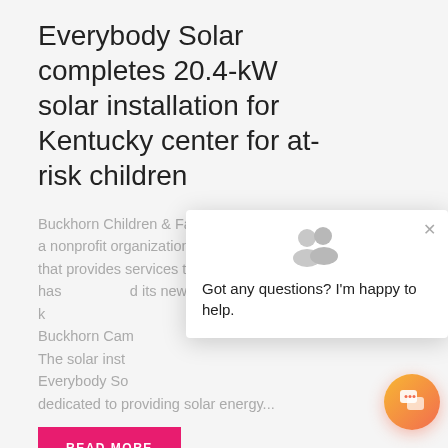Everybody Solar completes 20.4-kW solar installation for Kentucky center for at-risk children
Buckhorn Children & Family Services (BCFS), a nonprofit organization in eastern Kentucky that provides services to at-risk youth, has completed its new 20.4-kW solar installation at Buckhorn Campus. The solar installation was completed by Everybody Solar, a nonprofit dedicated to providing solar energy...
READ MORE